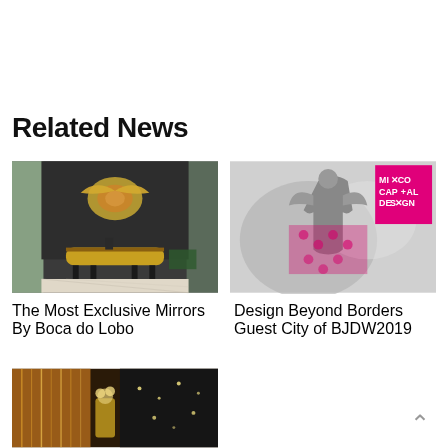Related News
[Figure (photo): Interior room with decorative gold mirror and console table against dark wall]
The Most Exclusive Mirrors By Boca do Lobo
[Figure (photo): Black and white photo of angel statue with pink floral elements and Mixco Capital Design logo in pink]
Design Beyond Borders Guest City of BJDW2019
[Figure (photo): Interior with golden/amber lighting and decorative elements]